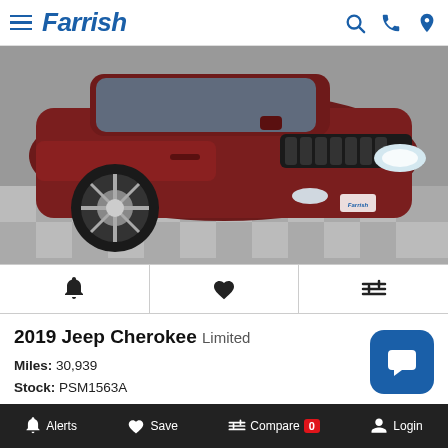Farrish
[Figure (photo): 2019 Jeep Cherokee Limited in dark red/maroon, front three-quarter view on a gray checkered floor]
2019 Jeep Cherokee Limited
Miles: 30,939
Stock: PSM1563A
VIN: 1C4PJMDN8KD292579
Status: In-Stock
Price: $2...
Alerts  Save  Compare 0  Login